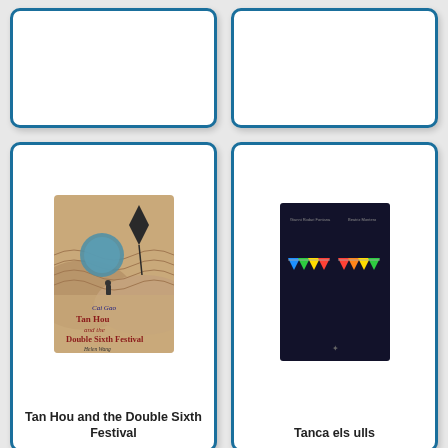[Figure (illustration): Partial book card top-left (cropped at top)]
[Figure (illustration): Partial book card top-right (cropped at top)]
[Figure (illustration): Book cover: Tan Hou and the Double Sixth Festival by Cai Gao, illustrated by Wu Chun-Hu & Song Hua, translated by Helen Wang. Earthy tones with folk art landscape, circular blue moon.]
Tan Hou and the Double Sixth Festival
[Figure (illustration): Book cover: Tanca els ulls (Close Your Eyes). Dark navy background with colorful bunting/eyelashes in rainbow colors forming two eye shapes.]
Tanca els ulls
[Figure (illustration): Book cover: Tell me. White background with simple cartoon illustration of two figures, one child and one adult.]
[Figure (illustration): Book cover: Telling Stories Wrong by Gianni Rodari, illustrated by Beatrice Alemagna. Salmon/peach background with illustrated character running.]